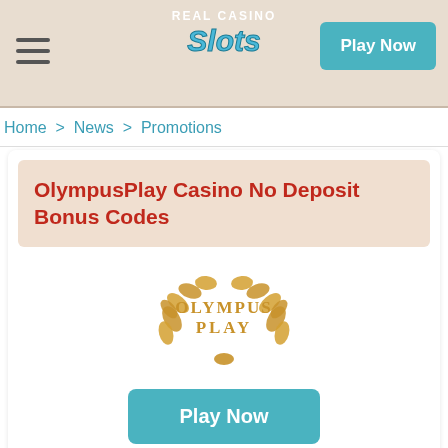Real Casino Slots — Play Now
Home > News > Promotions
OlympusPlay Casino No Deposit Bonus Codes
[Figure (logo): OlympusPlay casino logo with golden laurel wreath and text OLYMPUS PLAY]
Play Now
Bonus codes are ideal to use at any casino. We decided to find out if OlympusPlay Casino offered any of these codes, and if so, whether they strayed into the